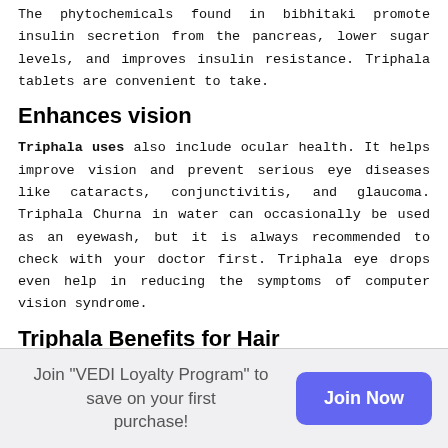The phytochemicals found in bibhitaki promote insulin secretion from the pancreas, lower sugar levels, and improves insulin resistance. Triphala tablets are convenient to take.
Enhances vision
Triphala uses also include ocular health. It helps improve vision and prevent serious eye diseases like cataracts, conjunctivitis, and glaucoma. Triphala Churna in water can occasionally be used as an eyewash, but it is always recommended to check with your doctor first. Triphala eye drops even help in reducing the symptoms of computer vision syndrome.
Triphala Benefits for Hair
Due to the presence of vitamin C, Triphala powder helps to control hair fall and promote hair growth when applied to the scalp. Usually, the hair fall is aggravated with the imbalance of Vata dosha in the body. Triphala helps in balancing Vata and
Join "VEDI Loyalty Program" to save on your first purchase!